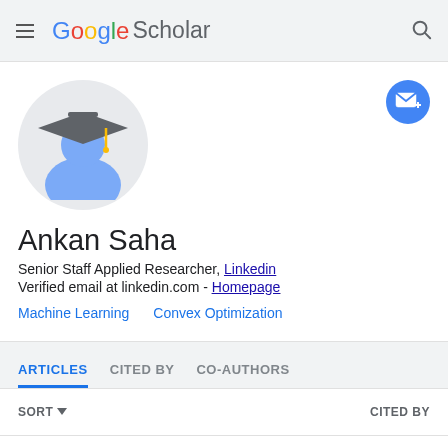Google Scholar
[Figure (illustration): Google Scholar user avatar — graduation cap figure on grey circle background]
Ankan Saha
Senior Staff Applied Researcher, Linkedin
Verified email at linkedin.com - Homepage
Machine Learning
Convex Optimization
ARTICLES   CITED BY   CO-AUTHORS
SORT ▾   CITED BY
Semi-supervised learning   278